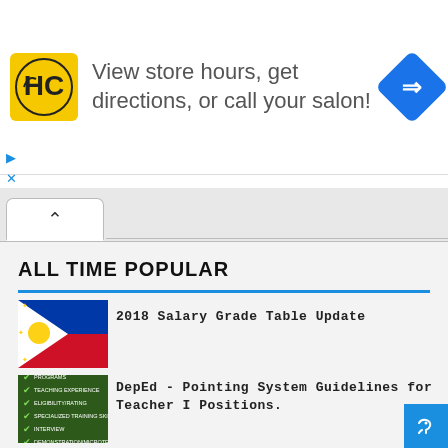[Figure (screenshot): Advertisement banner: HC salon logo, 'View store hours, get directions, or call your salon!' text, blue diamond navigation arrow icon]
[Figure (screenshot): Browser tab bar with an up-caret tab active]
ALL TIME POPULAR
[Figure (illustration): Philippine flag thumbnail image]
2018 Salary Grade Table Update
[Figure (screenshot): DepEd pointing system checklist thumbnail with green checkmarks]
DepEd - Pointing System Guidelines for Teacher I Positions.
[Figure (screenshot): Salary Grade Table 2019 thumbnail with text overlay]
Salary Grade Table 2019.